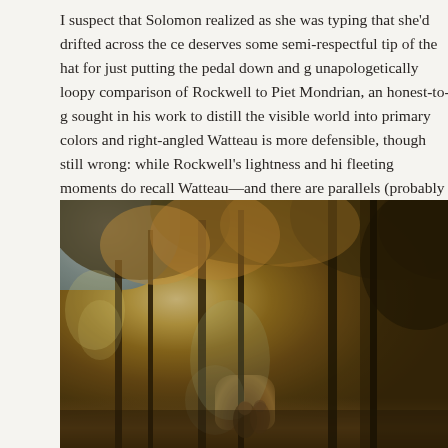I suspect that Solomon realized as she was typing that she'd drifted across the ce... deserves some semi-respectful tip of the hat for just putting the pedal down and g... unapologetically loopy comparison of Rockwell to Piet Mondrian, an honest-to-g... sought in his work to distill the visible world into primary colors and right-angled... Watteau is more defensible, though still wrong: while Rockwell's lightness and hi... fleeting moments do recall Watteau—and there are parallels (probably misleading)... Rockwell's emergence as a brand and Watteau's establishment of the genre of the... are two very different artists.
[Figure (photo): A Rococo-style landscape painting (likely by Watteau) showing tall trees with golden-brown foliage framing a forest path. Figures in period dress appear in the lower middle distance. The palette is warm browns, golds, and dark greens with a pale sky visible through the upper left.]